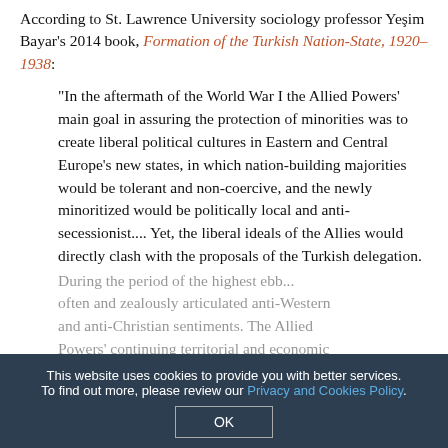According to St. Lawrence University sociology professor Yeşim Bayar's 2014 book, Formation of the Turkish Nation-State, 1920–1938:
"In the aftermath of the World War I the Allied Powers' main goal in assuring the protection of minorities was to create liberal political cultures in Eastern and Central Europe's new states, in which nation-building majorities would be tolerant and non-coercive, and the newly minoritized would be politically local and anti-secessionist.... Yet, the liberal ideals of the Allies would directly clash with the proposals of the Turkish delegation.
During the period of the highest ebb... often and zealously articulated anti-Western and anti-Christian sentiments. The Allied Powers' continuing territorial and economic
This website uses cookies to provide you with better services. To find out more, please review our Privacy and Cookies Policy.